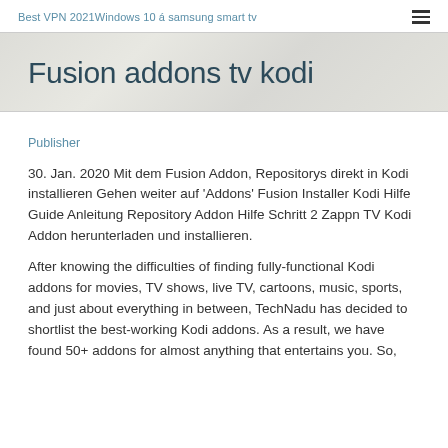Best VPN 2021Windows 10 á samsung smart tv
Fusion addons tv kodi
Publisher
30. Jan. 2020 Mit dem Fusion Addon, Repositorys direkt in Kodi installieren Gehen weiter auf 'Addons' Fusion Installer Kodi Hilfe Guide Anleitung Repository Addon Hilfe Schritt 2 Zappn TV Kodi Addon herunterladen und installieren.
After knowing the difficulties of finding fully-functional Kodi addons for movies, TV shows, live TV, cartoons, music, sports, and just about everything in between, TechNadu has decided to shortlist the best-working Kodi addons. As a result, we have found 50+ addons for almost anything that entertains you. So,